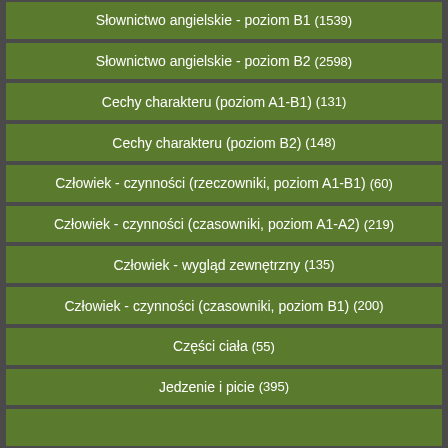Słownictwo angielskie - poziom B1 (1539)
Słownictwo angielskie - poziom B2 (2598)
Cechy charakteru (poziom A1-B1) (131)
Cechy charakteru (poziom B2) (148)
Człowiek - czynności (rzeczowniki, poziom A1-B1) (60)
Człowiek - czynności (czasowniki, poziom A1-A2) (219)
Człowiek - wygląd zewnętrzny (135)
Człowiek - czynności (czasowniki, poziom B1) (200)
Części ciała (55)
Jedzenie i picie (395)